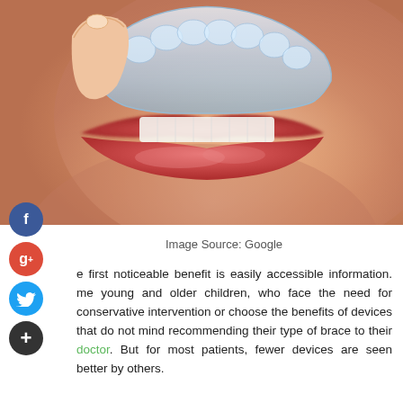[Figure (photo): Close-up photo of a person holding a clear dental aligner/retainer near their mouth with lips visible]
Image Source: Google
The first noticeable benefit is easily accessible information. Some young and older children, who face the need for conservative intervention or choose the benefits of devices that do not mind recommending their type of brace to their doctor. But for most patients, fewer devices are seen better by others.